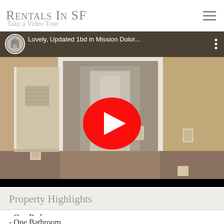Rentals In SF
Take a Video Tour
[Figure (screenshot): Embedded YouTube video thumbnail showing interior hallway of a one-bedroom apartment. Video title: 'Lovely, Updated 1bd in Mission Dolor...' with a YouTube play button overlay.]
Property Highlights
- One Bedroom
- One Bathroom